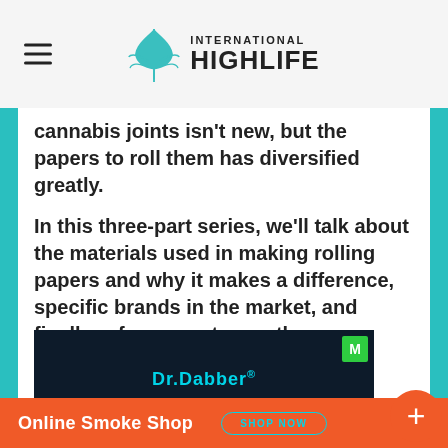International Highlife
cannabis joints isn't new, but the papers to roll them has diversified greatly.
In this three-part series, we'll talk about the materials used in making rolling papers and why it makes a difference, specific brands in the market, and finally, a few ways to use them.
[Figure (illustration): Dr.Dabber STELLA advertisement banner on dark background with teal text and Shop Now button]
Online Smoke Shop  SHOP NOW